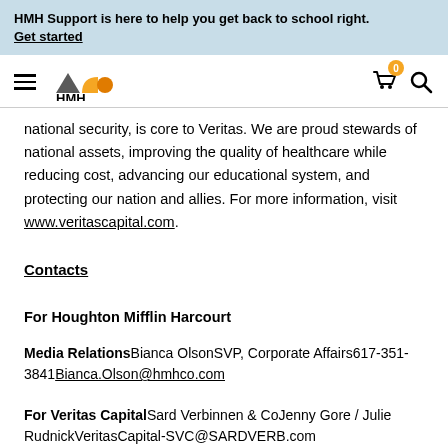HMH Support is here to help you get back to school right. Get started
[Figure (logo): HMH logo with hamburger menu, cart icon with badge showing 0, and search icon]
national security, is core to Veritas. We are proud stewards of national assets, improving the quality of healthcare while reducing cost, advancing our educational system, and protecting our nation and allies. For more information, visit www.veritascapital.com.
Contacts
For Houghton Mifflin Harcourt
Media RelationsBianca OlsonSVP, Corporate Affairs617-351-3841Bianca.Olson@hmhco.com
For Veritas CapitalSard Verbinnen & CoJenny Gore / Julie RudnickVeritasCapital-SVC@SARDVERB.com